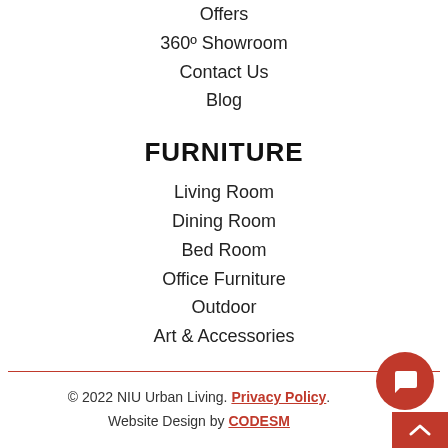Offers
360º Showroom
Contact Us
Blog
FURNITURE
Living Room
Dining Room
Bed Room
Office Furniture
Outdoor
Art & Accessories
© 2022 NIU Urban Living. Privacy Policy. Website Design by CODESM